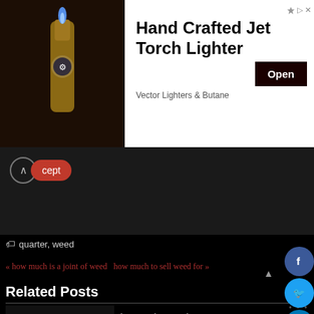[Figure (screenshot): Advertisement banner for Hand Crafted Jet Torch Lighter by Vector Lighters & Butane, showing a product image on the left and ad text with Open button on the right]
cept
quarter, weed
« how much is a joint of weed  how much to sell weed for »
Related Posts
how much is weed per gram
Weed